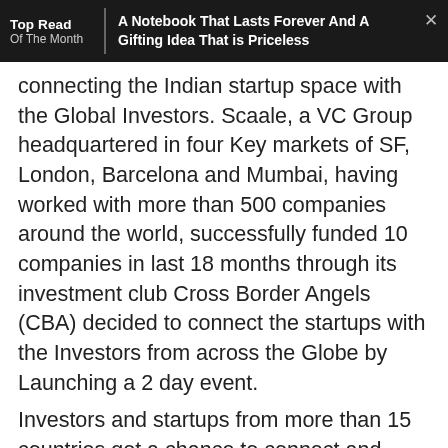Top Read Of The Month | A Notebook That Lasts Forever And A Gifting Idea That is Priceless
connecting the Indian startup space with the Global Investors. Scaale, a VC Group headquartered in four Key markets of SF, London, Barcelona and Mumbai, having worked with more than 500 companies around the world, successfully funded 10 companies in last 18 months through its investment club Cross Border Angels (CBA) decided to connect the startups with the Investors from across the Globe by Launching a 2 day event.
Investors and startups from more than 15 countries got a chance to connect and network through the event, for more cross border opportunities and investments. The first day of the event was graced by some of the Giants in the Industry like Mr. Kaushal Chokshi (Chairman Scaale Group) who was the